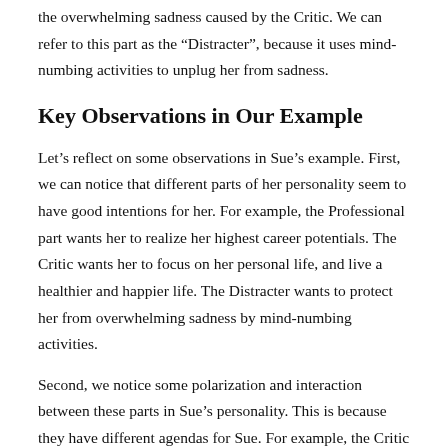the overwhelming sadness caused by the Critic. We can refer to this part as the “Distracter”, because it uses mind-numbing activities to unplug her from sadness.
Key Observations in Our Example
Let’s reflect on some observations in Sue’s example. First, we can notice that different parts of her personality seem to have good intentions for her. For example, the Professional part wants her to realize her highest career potentials. The Critic wants her to focus on her personal life, and live a healthier and happier life. The Distracter wants to protect her from overwhelming sadness by mind-numbing activities.
Second, we notice some polarization and interaction between these parts in Sue’s personality. This is because they have different agendas for Sue. For example, the Critic doesn’t like what the Professional is doing...